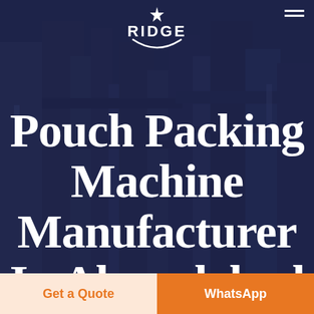[Figure (photo): Dark blue-tinted industrial background showing manufacturing/packing machinery]
RIDGE
Pouch Packing Machine Manufacturer In Ahmedabad Texas County Park
Get a Quote
WhatsApp